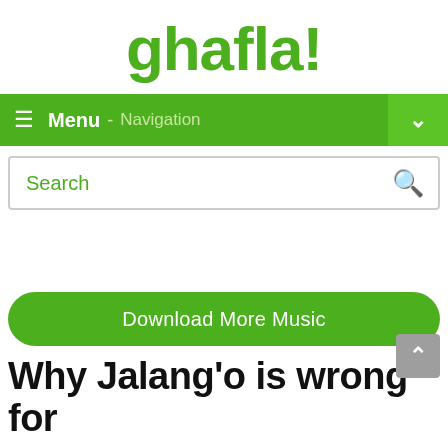ghafla!
[Figure (screenshot): Green navigation bar with hamburger menu icon, 'Menu - Navigation' text, and dropdown chevron on the right]
[Figure (screenshot): Search bar with 'Search' placeholder text and green search icon]
[Figure (screenshot): Green rounded 'Download More Music' button]
Why Jalang'o is wrong for